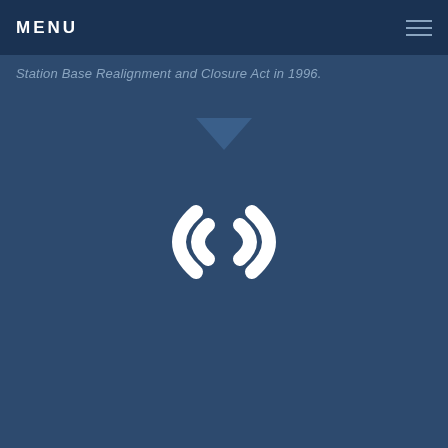MENU
Station Base Realignment and Closure Act in 1996.
[Figure (illustration): A downward-pointing dark blue triangle/arrow icon centered on the page]
[Figure (illustration): A white WiFi/wireless signal icon consisting of curved bracket shapes, centered on the page background]